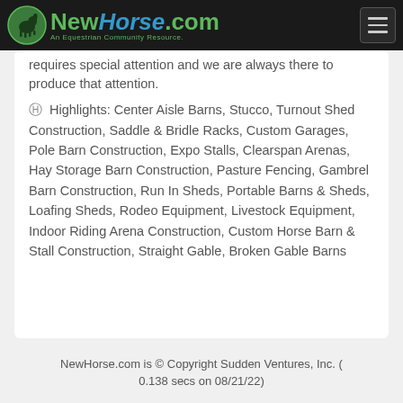NewHorse.com — An Equestrian Community Resource
requires special attention and we are always there to produce that attention.
Highlights: Center Aisle Barns, Stucco, Turnout Shed Construction, Saddle & Bridle Racks, Custom Garages, Pole Barn Construction, Expo Stalls, Clearspan Arenas, Hay Storage Barn Construction, Pasture Fencing, Gambrel Barn Construction, Run In Sheds, Portable Barns & Sheds, Loafing Sheds, Rodeo Equipment, Livestock Equipment, Indoor Riding Arena Construction, Custom Horse Barn & Stall Construction, Straight Gable, Broken Gable Barns
NewHorse.com is © Copyright Sudden Ventures, Inc. (0.138 secs on 08/21/22)